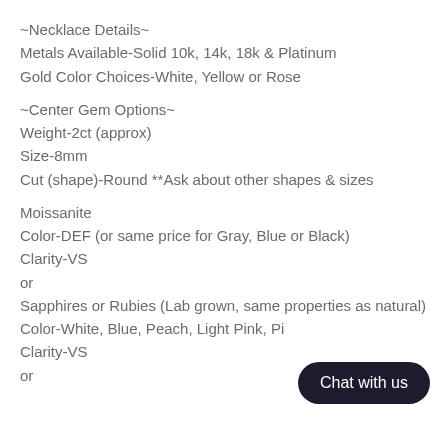~Necklace Details~
Metals Available-Solid 10k, 14k, 18k & Platinum
Gold Color Choices-White, Yellow or Rose
~Center Gem Options~
Weight-2ct (approx)
Size-8mm
Cut (shape)-Round **Ask about other shapes & sizes
Moissanite
Color-DEF (or same price for Gray, Blue or Black)
Clarity-VS
or
Sapphires or Rubies (Lab grown, same properties as natural)
Color-White, Blue, Peach, Light Pink, Pi
Clarity-VS
or
Chat with us